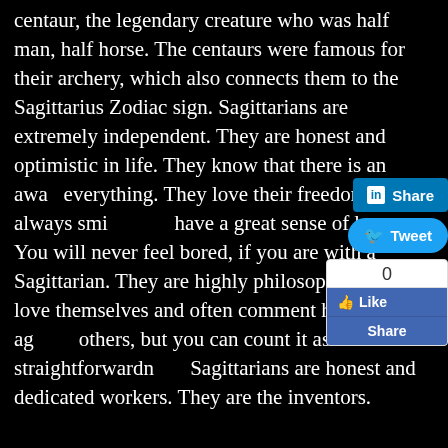centaur, the legendary creature who was half man, half horse. The centaurs were famous for their archery, which also connects them to the Sagittarius Zodiac sign. Sagittarians are extremely independent. They are honest and optimistic in life. They know that there is an away everything. They love their freedom. They always smi have a great sense of humor. You will never feel bored, if you are with a Sagittarian. They are highly philosophical. love themselves and often comment harsh words aga others, but you can count it as their straightforwardn Sagittarians are honest and dedicated workers. They are the inventors.
On the less positive side, Sagittarians are obsessed with themselves. They love themselves so much that sometimes, they get carried away with the thought that they are the greatest living being on this earth. They are unemotional and reckless. Sometimes, you may be amazed at how cold they can be. If you hurt them, you cannot escape their rude and harsh words. Sagittarians often want to hide away from